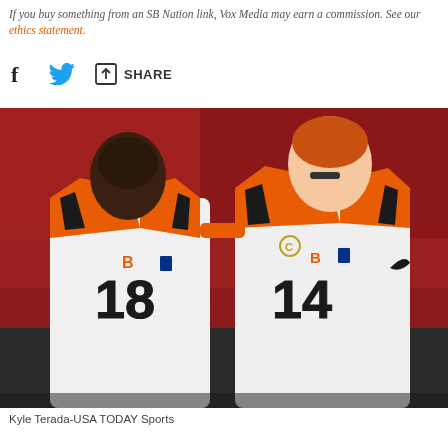If you buy something from an SB Nation link, Vox Media may earn a commission. See our ethics statement.
SHARE
[Figure (photo): Two Cincinnati Bengals football players in white uniforms with orange and black details, wearing numbers 18 and 14, standing on a field with a red stadium background.]
Kyle Terada-USA TODAY Sports